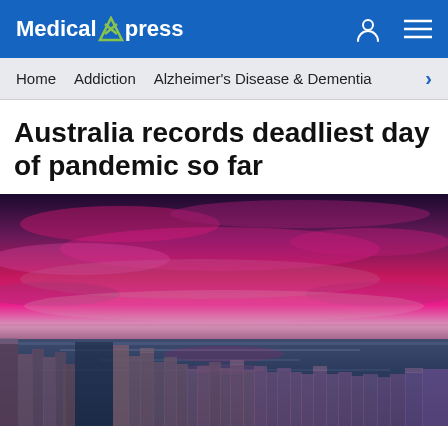Medical Xpress
Home  Addiction  Alzheimer's Disease & Dementia
Australia records deadliest day of pandemic so far
[Figure (photo): Long exposure photograph of old wooden pier posts in dark blue water with a dramatic pink and purple sunset sky]